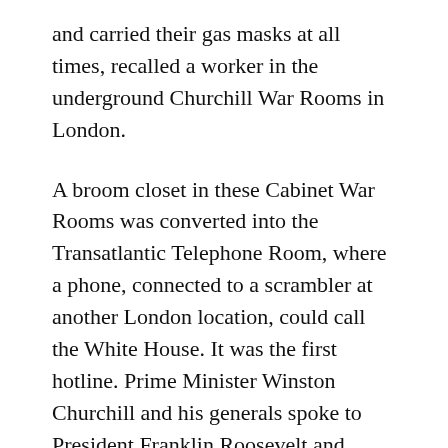and carried their gas masks at all times, recalled a worker in the underground Churchill War Rooms in London.
A broom closet in these Cabinet War Rooms was converted into the Transatlantic Telephone Room, where a phone, connected to a scrambler at another London location, could call the White House. It was the first hotline. Prime Minister Winston Churchill and his generals spoke to President Franklin Roosevelt and American generals.